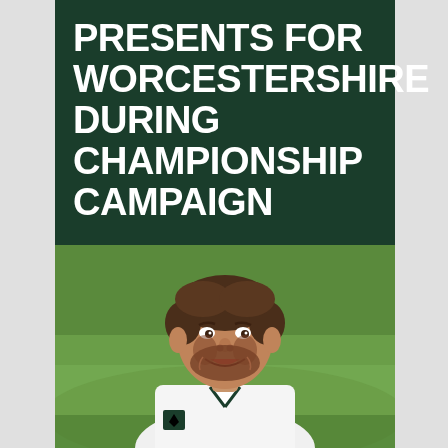PRESENTS FOR WORCESTERSHIRE DURING CHAMPIONSHIP CAMPAIGN
[Figure (photo): A smiling man with short brown hair and a beard, wearing a white cricket kit with a green collar and the Worcestershire County Cricket Club badge, photographed outdoors against a blurred green grass background.]